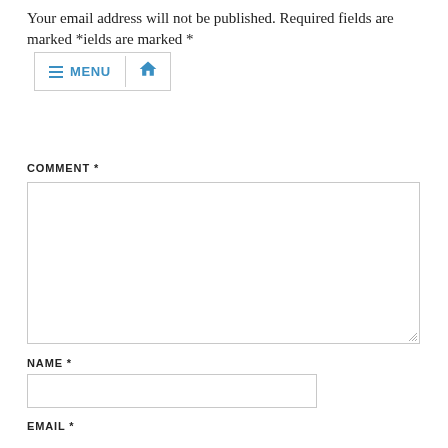Your email address will not be published. Required fields are marked *
[Figure (screenshot): Navigation menu bar with hamburger MENU icon and home icon]
COMMENT *
[Figure (screenshot): Large comment textarea input box]
NAME *
[Figure (screenshot): Name text input field]
EMAIL *
[Figure (screenshot): Email text input field]
WEBSITE